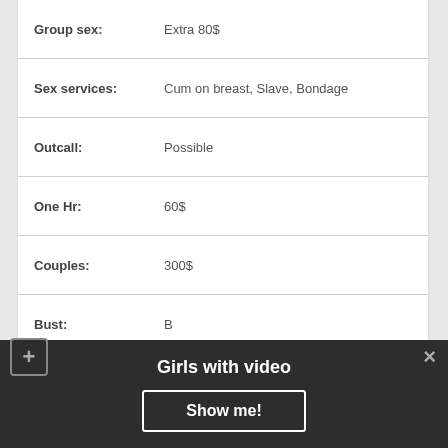| Field | Value |
| --- | --- |
| Group sex: | Extra 80$ |
| Sex services: | Cum on breast, Slave, Bondage |
| Outcall: | Possible |
| One Hr: | 60$ |
| Couples: | 300$ |
| Bust: | B |
VIDEO
I love taking
Harriette
Girls with video
Show me!